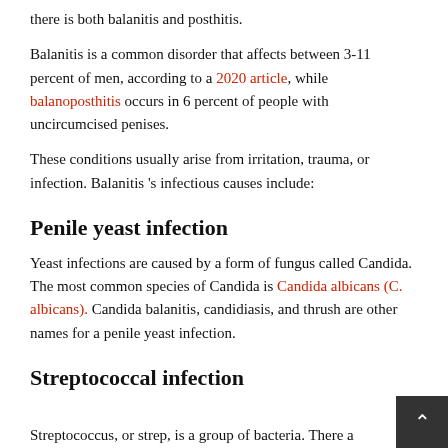there is both balanitis and posthitis.
Balanitis is a common disorder that affects between 3-11 percent of men, according to a 2020 article, while balanoposthitis occurs in 6 percent of people with uncircumcised penises.
These conditions usually arise from irritation, trauma, or infection. Balanitis 's infectious causes include:
Penile yeast infection
Yeast infections are caused by a form of fungus called Candida. The most common species of Candida is Candida albicans (C. albicans). Candida balanitis, candidiasis, and thrush are other names for a penile yeast infection.
Streptococcal infection
Streptococcus, or strep, is a group of bacteria. There a…